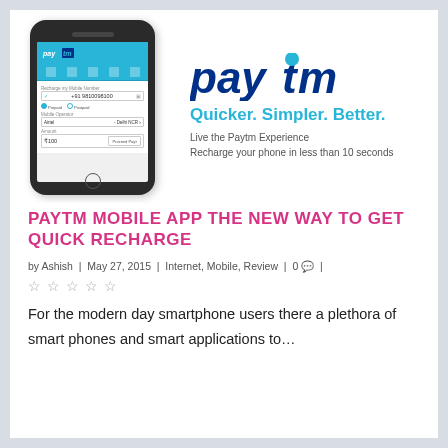[Figure (screenshot): Paytm mobile app advertisement banner showing a smartphone with the Paytm app interface displaying a mobile recharge screen. On the right side is the Paytm logo with taglines 'Quicker. Simpler. Better.', 'Live the Paytm Experience', and 'Recharge your phone in less than 10 seconds'.]
PAYTM MOBILE APP THE NEW WAY TO GET QUICK RECHARGE
by Ashish | May 27, 2015 | Internet, Mobile, Review | 0 💬 |
★★★★★
For the modern day smartphone users there a plethora of smart phones and smart applications to...